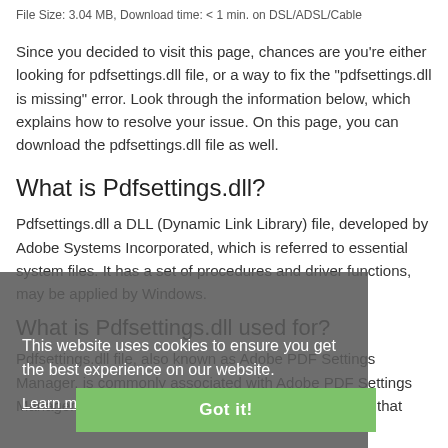File Size: 3.04 MB, Download time: < 1 min. on DSL/ADSL/Cable
Since you decided to visit this page, chances are you're either looking for pdfsettings.dll file, or a way to fix the "pdfsettings.dll is missing" error. Look through the information below, which explains how to resolve your issue. On this page, you can download the pdfsettings.dll file as well.
What is Pdfsettings.dll?
Pdfsettings.dll a DLL (Dynamic Link Library) file, developed by Adobe Systems Incorporated, which is referred to essential system files. It has a set of procedures and driver functions, may be applied by Windows.
This website uses cookies to ensure you get the best experience on our website.
Learn more
Got it!
What is Pdfsettings.dll used for?
Pdfsettings.dll file, also known as Adobe PDF Settings Manager, is commonly associated with Adobe PDF Settings Manager. It is an essential component, which ensures that